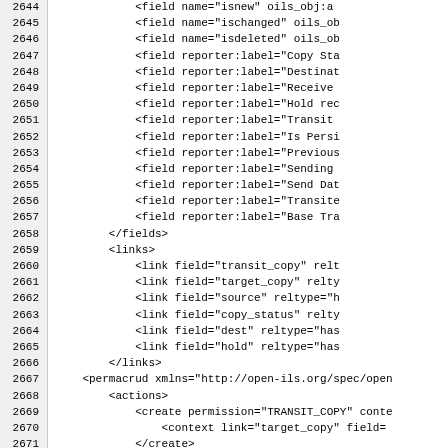Code listing lines 2644-2675 showing XML field, links, permacrud definitions